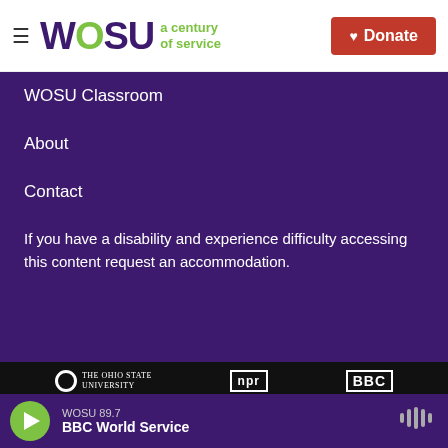WOSU a century of service | Donate
WOSU Classroom
About
Contact
If you have a disability and experience difficulty accessing this content request an accommodation.
[Figure (logo): The Ohio State University logo]
[Figure (logo): NPR logo]
[Figure (logo): BBC logo]
[Figure (logo): American logo (partial)]
[Figure (logo): PRX logo (partial)]
WOSU 89.7 | BBC World Service